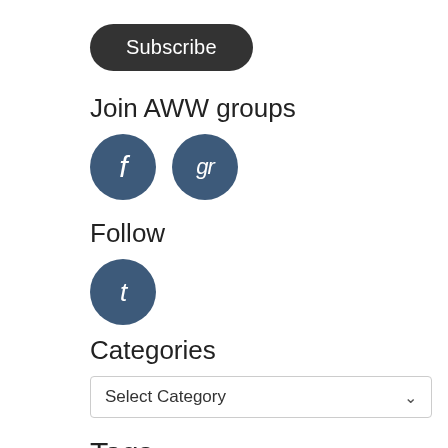[Figure (other): Subscribe button — dark rounded rectangle with white text 'Subscribe']
Join AWW groups
[Figure (other): Two circular social media icons: Facebook (f) and Goodreads (gr) in dark blue]
Follow
[Figure (other): One circular social media icon: Tumblr (t) in dark blue]
Categories
Select Category
Tags
Anita Heiss
Australian Women Writers Challenge
Awards
Biography
Children's Literature
Classics